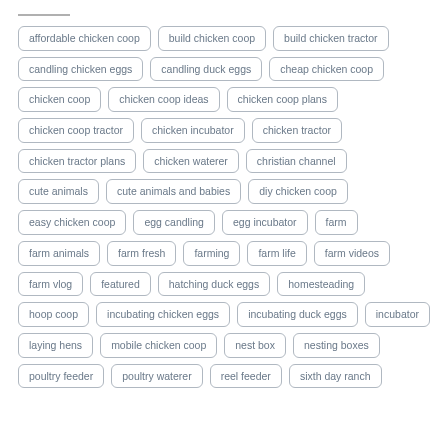affordable chicken coop
build chicken coop
build chicken tractor
candling chicken eggs
candling duck eggs
cheap chicken coop
chicken coop
chicken coop ideas
chicken coop plans
chicken coop tractor
chicken incubator
chicken tractor
chicken tractor plans
chicken waterer
christian channel
cute animals
cute animals and babies
diy chicken coop
easy chicken coop
egg candling
egg incubator
farm
farm animals
farm fresh
farming
farm life
farm videos
farm vlog
featured
hatching duck eggs
homesteading
hoop coop
incubating chicken eggs
incubating duck eggs
incubator
laying hens
mobile chicken coop
nest box
nesting boxes
poultry feeder
poultry waterer
reel feeder
sixth day ranch